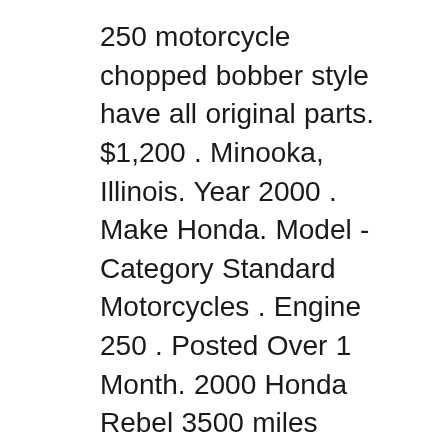250 motorcycle chopped bobber style have all original parts. $1,200 . Minooka, Illinois. Year 2000 . Make Honda. Model - Category Standard Motorcycles . Engine 250 . Posted Over 1 Month. 2000 Honda Rebel 3500 miles Starts Every Time, Runs Great. Newer Battery, Plugs, Oil 2000 Honda Rebel 250 Motorcycles for sale. 1-15 of 61. Alert for new Listings. Sort By. Honda : Other 2000 honda rebel 250 motorcycle chopped bobber style have all original parts. $1,200 . Minooka, Illinois. Year 2000 . Make Honda. Model - Category Standard Motorcycles . Engine 250 . Posted Over 1 Month. 2000 Honda Rebel 3500 miles Starts Every Time, Runs Great. Newer Battery, Plugs, Oil